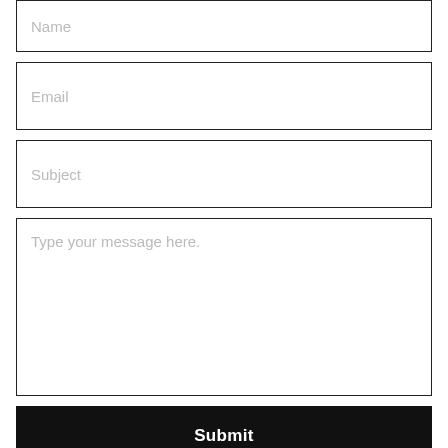Name
Email
Subject
Type your message here.
Submit